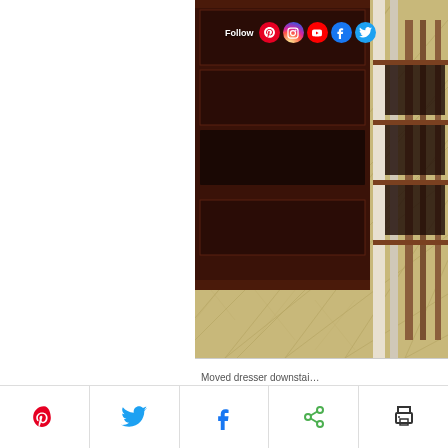[Figure (photo): Close-up photo of a dark mahogany dresser with open drawers on a patterned linoleum floor, with social media follow icons overlaid at top (Pinterest, Instagram, YouTube, Facebook, Twitter)]
Moved dresser downstai...
[Figure (infographic): Bottom share bar with Pinterest, Twitter, Facebook, share, and print icons]